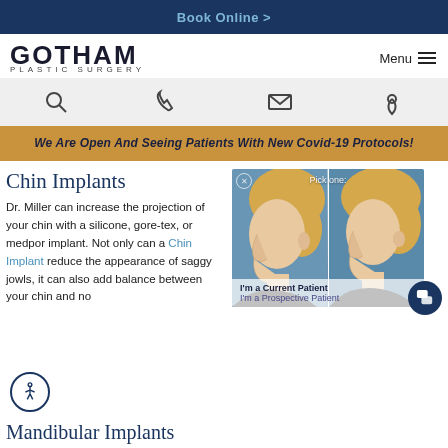Book Online >
GOTHAM PLASTIC SURGERY
[Figure (screenshot): Navigation icon bar with search, phone, email, and location icons on light gray background]
WE ARE OPEN AND SEEING PATIENTS WITH NEW COVID-19 PROTOCOLS!
Chin Implants
Dr. Miller can increase the projection of your chin with a silicone, gore-tex, or medpor implant. Not only can a Chin Implant reduce the appearance of saggy jowls, it can also add balance between your chin and no...
[Figure (photo): Before and after side-profile photos of a woman who had chin implant surgery, showing profile view of chin and jaw]
Mandibular Implants